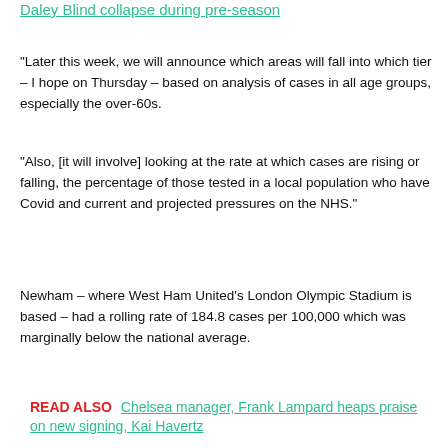Daley Blind collapse during pre-season
“Later this week, we will announce which areas will fall into which tier – I hope on Thursday – based on analysis of cases in all age groups, especially the over-60s.
“Also, [it will involve] looking at the rate at which cases are rising or falling, the percentage of those tested in a local population who have Covid and current and projected pressures on the NHS.”
Newham – where West Ham United’s London Olympic Stadium is based – had a rolling rate of 184.8 cases per 100,000 which was marginally below the national average.
READ ALSO  Chelsea manager, Frank Lampard heaps praise on new signing, Kai Havertz